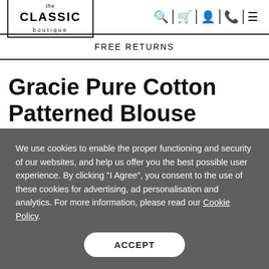the CLASSIC boutique — navigation icons: search, bag, account, phone, menu
FREE RETURNS
Gracie Pure Cotton Patterned Blouse
We use cookies to enable the proper functioning and security of our websites, and help us offer you the best possible user experience. By clicking "I Agree", you consent to the use of these cookies for advertising, ad personalisation and analytics. For more information, please read our Cookie Policy.
ACCEPT